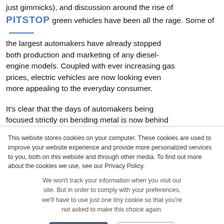just gimmicks), and discussion around the rise of green vehicles have been all the rage. Some of the largest automakers have already stopped both production and marketing of any diesel-engine models. Coupled with ever increasing gas prices, electric vehicles are now looking even more appealing to the everyday consumer.
It’s clear that the days of automakers being focused strictly on bending metal is now behind us. They are changing their approaches to business models, how vehicles are used, and the
This website stores cookies on your computer. These cookies are used to improve your website experience and provide more personalized services to you, both on this website and through other media. To find out more about the cookies we use, see our Privacy Policy.
We won’t track your information when you visit our site. But in order to comply with your preferences, we’ll have to use just one tiny cookie so that you’re not asked to make this choice again.